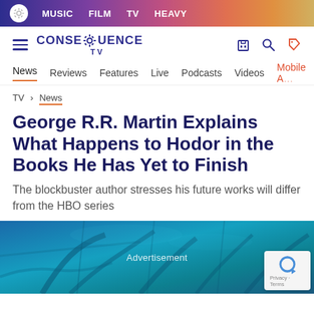MUSIC  FILM  TV  HEAVY
[Figure (screenshot): Consequence TV logo with hamburger menu and navigation icons]
News  Reviews  Features  Live  Podcasts  Videos  Mobile App
TV > News
George R.R. Martin Explains What Happens to Hodor in the Books He Has Yet to Finish
The blockbuster author stresses his future works will differ from the HBO series
[Figure (photo): Blue-tinted atmospheric image with tree roots or branches, showing Advertisement overlay and reCAPTCHA badge]